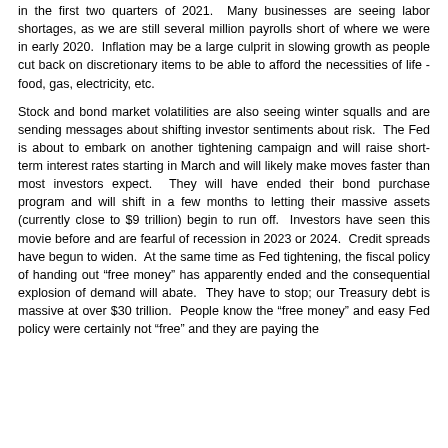in the first two quarters of 2021. Many businesses are seeing labor shortages, as we are still several million payrolls short of where we were in early 2020. Inflation may be a large culprit in slowing growth as people cut back on discretionary items to be able to afford the necessities of life - food, gas, electricity, etc.
Stock and bond market volatilities are also seeing winter squalls and are sending messages about shifting investor sentiments about risk. The Fed is about to embark on another tightening campaign and will raise short-term interest rates starting in March and will likely make moves faster than most investors expect. They will have ended their bond purchase program and will shift in a few months to letting their massive assets (currently close to $9 trillion) begin to run off. Investors have seen this movie before and are fearful of recession in 2023 or 2024. Credit spreads have begun to widen. At the same time as Fed tightening, the fiscal policy of handing out “free money” has apparently ended and the consequential explosion of demand will abate. They have to stop; our Treasury debt is massive at over $30 trillion. People know the “free money” and easy Fed policy were certainly not “free” and they are paying the